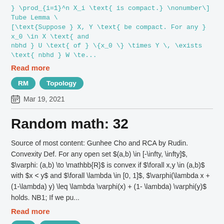} \prod_{i=1}^n X_i \text{ is compact.} \nonumber\] Tube Lemma \ [\text{Suppose } X, Y \text{ be compact. For any } x_0 \in X \text{ and nbhd } U \text{ of } \{x_0 \} \times Y \, \exists \text{ nbhd } W \te...
Read more
RM
Topology
Mar 19, 2021
Random math: 32
Source of most content: Gunhee Cho and RCA by Rudin. Convexity Def. For any open set $(a,b) \in [-\infty, \infty]$, $\varphi: (a,b) \to \mathbb{R}$ is convex if $\forall x,y \in (a,b)$ with $x < y$ and $\forall \lambda \in [0, 1]$, $\varphi(\lambda x + (1-\lambda) y) \leq \lambda \varphi(x) + (1- \lambda) \varphi(y)$ holds. NB1; If we pu...
Read more
RM
Measure